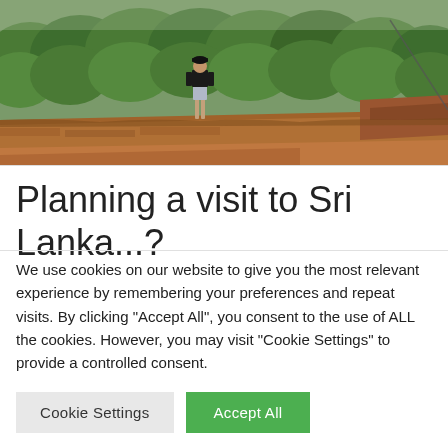[Figure (photo): A person standing on the edge of a ancient rock fortress (Sigiriya, Sri Lanka) with a panoramic view of green jungle and landscape below. The foreground shows red-brown ancient brick walls and red earth.]
Planning a visit to Sri Lanka...?
We use cookies on our website to give you the most relevant experience by remembering your preferences and repeat visits. By clicking "Accept All", you consent to the use of ALL the cookies. However, you may visit "Cookie Settings" to provide a controlled consent.